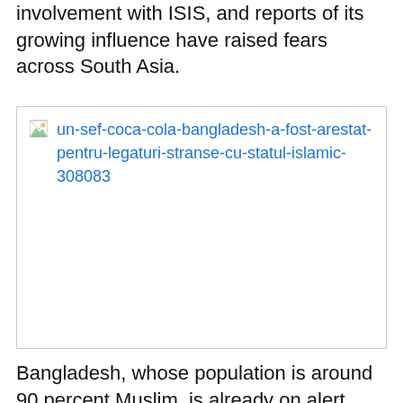involvement with ISIS, and reports of its growing influence have raised fears across South Asia.
[Figure (photo): Broken image placeholder with link text: un-sef-coca-cola-bangladesh-a-fost-arestat-pentru-legaturi-stranse-cu-statul-islamic-308083]
Bangladesh, whose population is around 90 percent Muslim, is already on alert after three secular bloggers including a U.S. citizen, Avijit Roy, were killed by allied islamist groups. Ro...